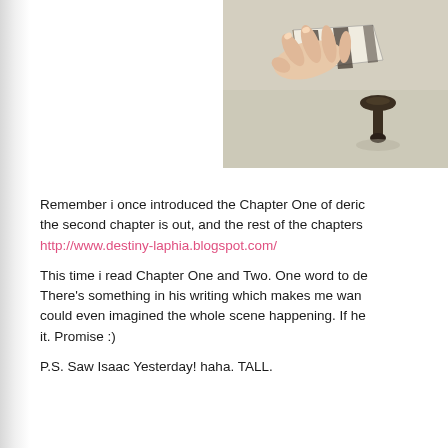[Figure (photo): A photo showing hands holding or folding a striped bow tie, with a bow tie clip/holder visible on the surface.]
Remember i once introduced the Chapter One of deric the second chapter is out, and the rest of the chapters http://www.destiny-laphia.blogspot.com/
This time i read Chapter One and Two. One word to de There's something in his writing which makes me wan could even imagined the whole scene happening. If he it. Promise :)
P.S. Saw Isaac Yesterday! haha. TALL.